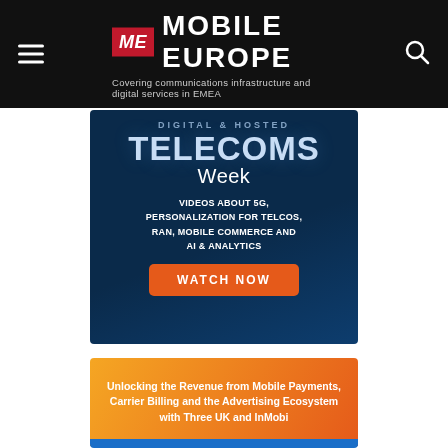ME MOBILE EUROPE — Covering communications infrastructure and digital services in EMEA
[Figure (screenshot): Telecoms Week promotional banner on dark blue background with text: 'TELECOMS Week — VIDEOS ABOUT 5G, PERSONALIZATION FOR TELCOS, RAN, MOBILE COMMERCE AND AI & ANALYTICS' and an orange 'WATCH NOW' button]
[Figure (screenshot): Orange gradient article card with white text: 'Unlocking the Revenue from Mobile Payments, Carrier Billing and the Advertising Ecosystem with Three UK and InMobi']